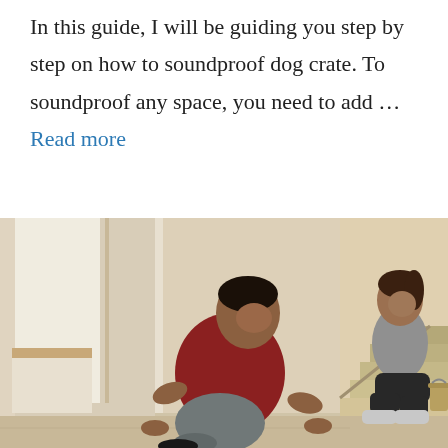In this guide, I will be guiding you step by step on how to soundproof dog crate. To soundproof any space, you need to add … Read more
[Figure (photo): A man in a red t-shirt kneeling on the floor working on flooring installation, smiling at the camera. A woman in a grey shirt sits on stairs in the background, holding a phone and smiling. The setting appears to be a home under renovation with light-colored walls and wooden stairs.]